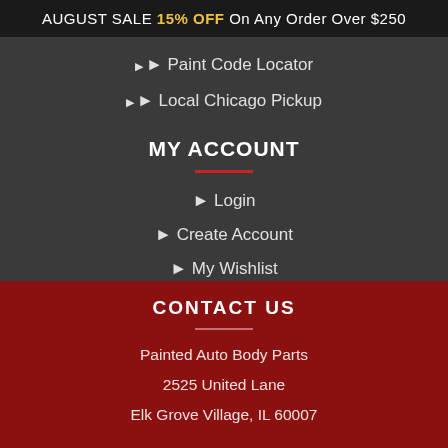AUGUST SALE 15% OFF On Any Order Over $250
Paint Code Locator
Local Chicago Pickup
MY ACCOUNT
Login
Create Account
My Wishlist
Shopping Cart
CONTACT US
Painted Auto Body Parts
2525 United Lane
Elk Grove Village, IL 60007